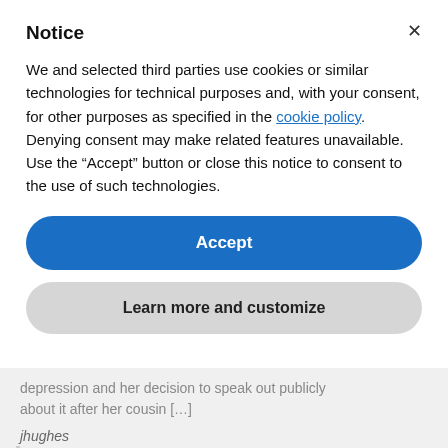Notice
We and selected third parties use cookies or similar technologies for technical purposes and, with your consent, for other purposes as specified in the cookie policy. Denying consent may make related features unavailable.
Use the “Accept” button or close this notice to consent to the use of such technologies.
Accept
Learn more and customize
depression and her decision to speak out publicly about it after her cousin […]
jhughes
Day Two at Mental Health America’s 2022 Annual Conference, Forward Together: Recovery, Healing, Hope